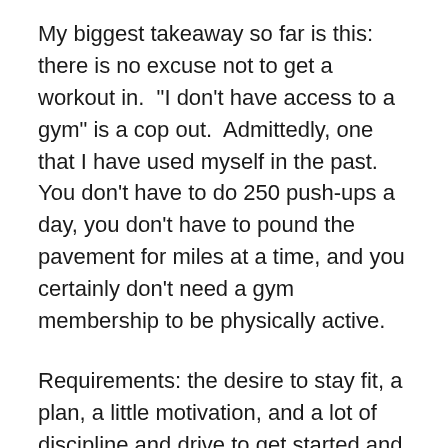My biggest takeaway so far is this: there is no excuse not to get a workout in.  "I don't have access to a gym" is a cop out.  Admittedly, one that I have used myself in the past.  You don't have to do 250 push-ups a day, you don't have to pound the pavement for miles at a time, and you certainly don't need a gym membership to be physically active.
Requirements: the desire to stay fit, a plan, a little motivation, and a lot of discipline and drive to get started and keep going.  Once you make the commitment and choose to honor it over and over and over and over again, it becomes a habit that you don't even think twice about doing because it is a